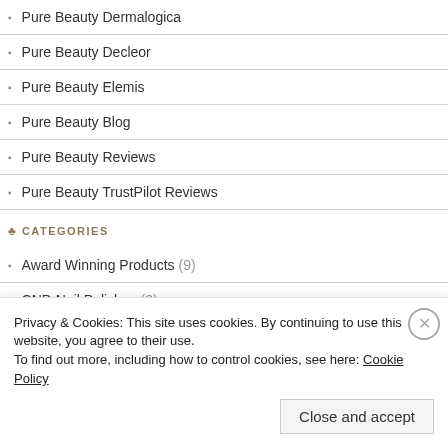Pure Beauty Dermalogica
Pure Beauty Decleor
Pure Beauty Elemis
Pure Beauty Blog
Pure Beauty Reviews
Pure Beauty TrustPilot Reviews
CATEGORIES
Award Winning Products (9)
CND Nail Polishes (3)
Decleor Skincare Products (61)
Privacy & Cookies: This site uses cookies. By continuing to use this website, you agree to their use.
To find out more, including how to control cookies, see here: Cookie Policy
Close and accept